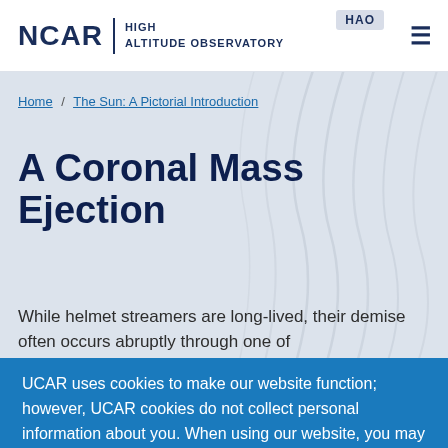NCAR | HIGH ALTITUDE OBSERVATORY  HAO
Home / The Sun: A Pictorial Introduction
A Coronal Mass Ejection
While helmet streamers are long-lived, their demise often occurs abruptly through one of
UCAR uses cookies to make our website function; however, UCAR cookies do not collect personal information about you. When using our website, you may